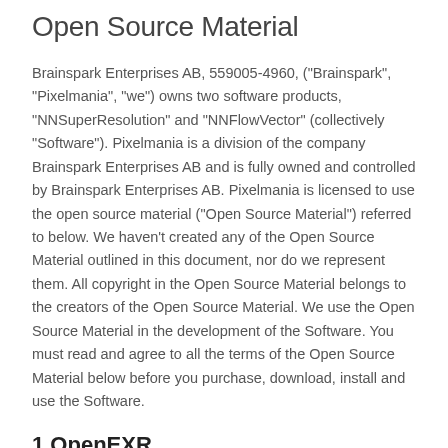Open Source Material
Brainspark Enterprises AB, 559005-4960, ("Brainspark", "Pixelmania", "we") owns two software products, "NNSuperResolution" and "NNFlowVector" (collectively "Software"). Pixelmania is a division of the company Brainspark Enterprises AB and is fully owned and controlled by Brainspark Enterprises AB. Pixelmania is licensed to use the open source material ("Open Source Material") referred to below. We haven't created any of the Open Source Material outlined in this document, nor do we represent them. All copyright in the Open Source Material belongs to the creators of the Open Source Material. We use the Open Source Material in the development of the Software. You must read and agree to all the terms of the Open Source Material below before you purchase, download, install and use the Software.
1 OpenEXR